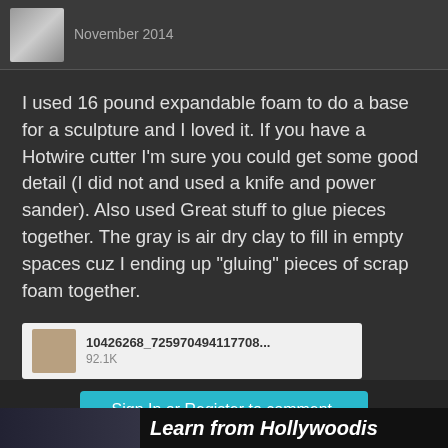November 2014
I used 16 pound expandable foam to do a base for a sculpture and I loved it. If you have a Hotwire cutter I'm sure you could get some good detail (I did not and used a knife and power sander). Also used Great stuff to glue pieces together. The gray is air dry clay to fill in empty spaces cuz I ending up "gluing" pieces of scrap foam together.
[Figure (screenshot): Attachment thumbnail: 10426268_725970494117708... 92.1K]
[Figure (screenshot): Attachment thumbnail: DSCF4568.JPG 5.7M]
Sign In or Register to comment.
Learn from Hollywoodis